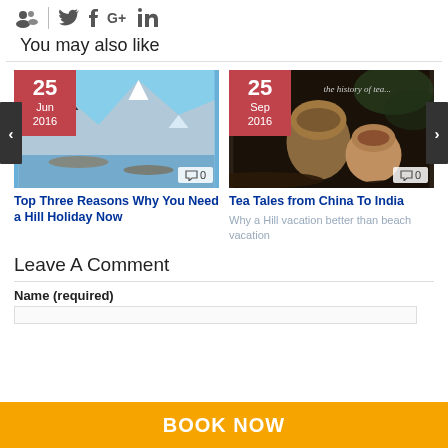[Figure (infographic): Social media icons: group/users icon, Twitter, Facebook, Google+, LinkedIn with a vertical divider]
You may also like
[Figure (photo): Mountain landscape with blue lake and snowy peaks, date badge 25 Jun 2016, comment count 0. Article: Top Three Reasons Why You Need a Hill Holiday Now]
Top Three Reasons Why You Need a Hill Holiday Now
[Figure (photo): Tea cups with dark background, text 'the history of tea...', date badge 25 Sep 2016, comment count 0. Article: Tea Tales from China To India]
Tea Tales from China To India
Why a Hill vacation better than beach vacation
Leave A Comment
Name (required)
BOOK NOW